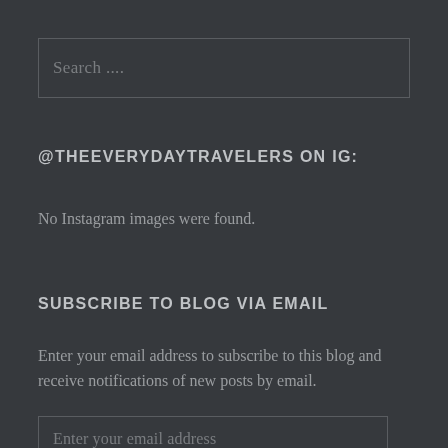Search ....
@THEEVERYDAYTRAVELERS ON IG:
No Instagram images were found.
SUBSCRIBE TO BLOG VIA EMAIL
Enter your email address to subscribe to this blog and receive notifications of new posts by email.
Enter your email address